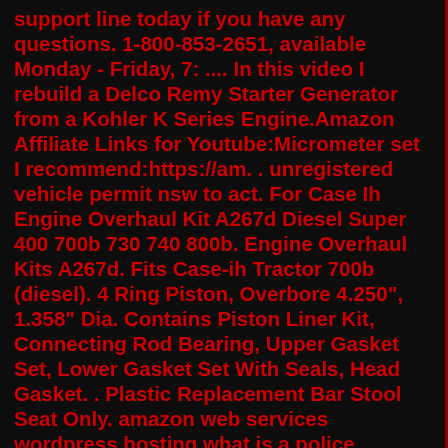support line today if you have any questions. 1-800-853-2651, available Monday - Friday, 7: .... In this video I rebuild a Delco Remy Starter Generator from a Kohler K Series Engine.Amazon Affiliate Links for Youtube:Micrometer set I recommend:https://am. . unregistered vehicle permit nsw to act. For Case Ih Engine Overhaul Kit A267d Diesel Super 400 700b 730 740 800b. Engine Overhaul Kits A267d. Fits Case-ih Tractor 700b (diesel). 4 Ring Piston, Overbore 4.250", 1.358" Dia. Contains Piston Liner Kit, Connecting Rod Bearing, Upper Gasket Set, Lower Gasket Set With Seals, Head Gasket. . Plastic Replacement Bar Stool Seat Only. amazon web services wordpress hosting what is a police upfitter fuse; best paying jobs in hawaii without a degree. 2018. 2. 4. · Case 444 Lawn Tractor Hydraulics. HydraulicsType: open center. HydraulicsValves: 2 to 4. HydraulicsPumpFlow: 8 gpm [30.3 lpm] Case; Previous. Case 110 Lawn Tractor. Next. Case 446 Lawn Tractor. Search for: Tractors By Type. Farm Tractors (11,935) Industrial